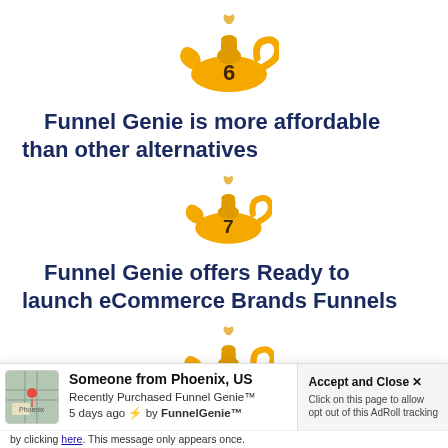[Figure (illustration): Golden Aladdin lamp icon with number 6 in the center]
Funnel Genie is more affordable than other alternatives
[Figure (illustration): Golden Aladdin lamp icon with number 7 in the center]
Funnel Genie offers Ready to launch eCommerce Brands Funnels
[Figure (illustration): Golden Aladdin lamp icon with number 8 in the center]
Someone from Phoenix, US Recently Purchased Funnel Genie™ 5 days ago ⚡ by FunnelGenie™ | Accept and Close ✕ Click on this page to allow opt out of this AdRoll tracking | by clicking here. This message only appears once.